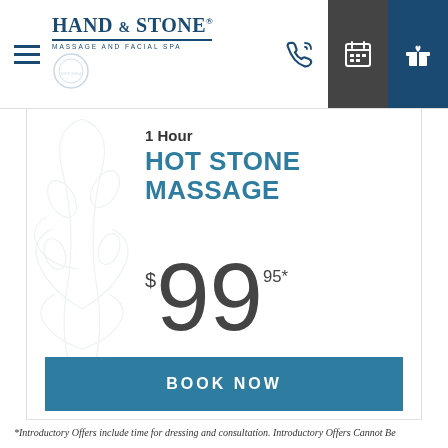[Figure (logo): Hand & Stone Massage and Facial Spa logo with hamburger menu and navigation icons]
1 Hour
HOT STONE MASSAGE
$99.95*
BOOK NOW
*Introductory Offers include time for dressing and consultation. Introductory Offers Cannot Be